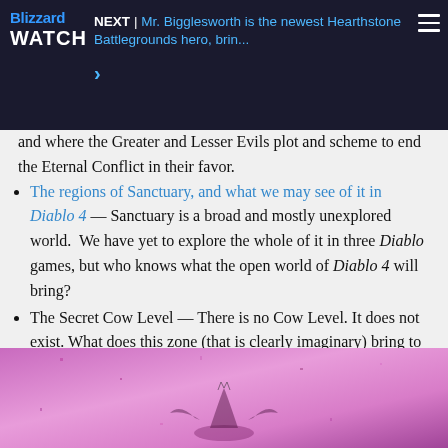NEXT | Mr. Bigglesworth is the newest Hearthstone Battlegrounds hero, brin... >
and where the Greater and Lesser Evils plot and scheme to end the Eternal Conflict in their favor.
The regions of Sanctuary, and what we may see of it in Diablo 4 — Sanctuary is a broad and mostly unexplored world.  We have yet to explore the whole of it in three Diablo games, but who knows what the open world of Diablo 4 will bring?
The Secret Cow Level — There is no Cow Level. It does not exist. What does this zone (that is clearly imaginary) bring to Sanctuary, and will the Infernal Bovine herd take over?
[Figure (photo): Pink/purple toned game screenshot showing a creature or character from Diablo]